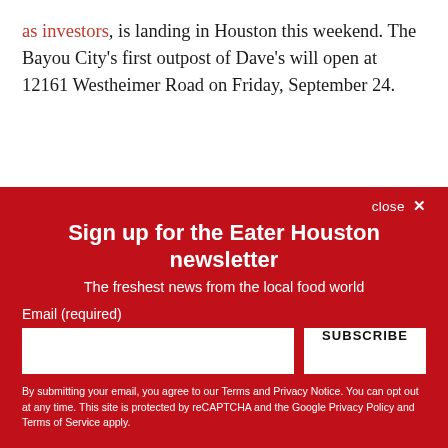as investors, is landing in Houston this weekend. The Bayou City's first outpost of Dave's will open at 12161 Westheimer Road on Friday, September 24.
Sign up for the Eater Houston newsletter
The freshest news from the local food world
Email (required)
SUBSCRIBE
By submitting your email, you agree to our Terms and Privacy Notice. You can opt out at any time. This site is protected by reCAPTCHA and the Google Privacy Policy and Terms of Service apply.